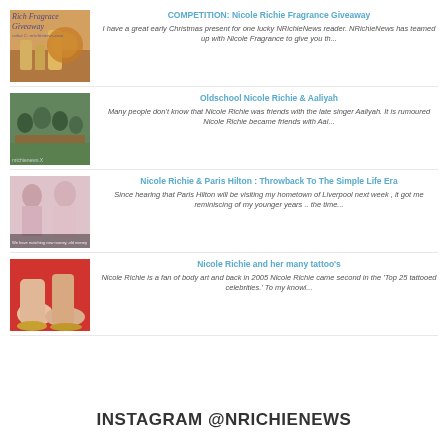COMPETITION: Nicole Richie Fragrance Giveaway — I have a great early Christmas present for one lucky NRichieNews reader. NRichieNews has teamed up with Nicole Fragrance to give you th...
Oldschool Nicole Richie & Aaliyah — Many people don't know that Nicole Richie was friends with the late singer Aaliyah. It is rumoured Nicole Richie became friends with Aal...
Nicole Richie & Paris Hilton : Throwback To The Simple Life Era — Since hearing that Paris Hilton will be visiting my hometown of Liverpool next week , it got me reminiscing of my younger years .. the time...
Nicole Richie and her many tattoo's — Nicole Richie is a fan of body art and back in 2005 Nicole Richie came second in the 'Top 25 tattooed celebrities.' To my knowl...
INSTAGRAM @NRICHIENEWS